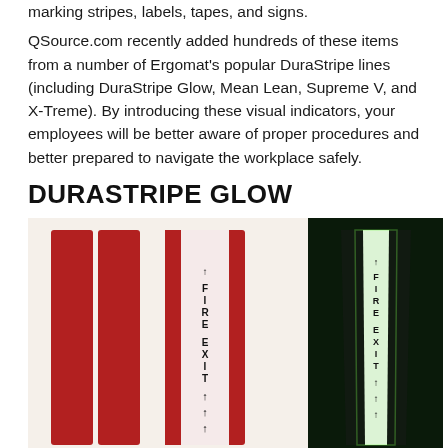marking stripes, labels, tapes, and signs.
QSource.com recently added hundreds of these items from a number of Ergomat's popular DuraStripe lines (including DuraStripe Glow, Mean Lean, Supreme V, and X-Treme). By introducing these visual indicators, your employees will be better aware of proper procedures and better prepared to navigate the workplace safely.
DURASTRIPE GLOW
[Figure (photo): Two views of DuraStripe Glow floor marking tape: left panel shows red tape strips and a white/red 'FIRE EXIT' tape with arrows on a cream background; right panel shows the same tape glowing in the dark on a black background.]
Lead them through the darkness with DuraStripe Glow, the peel and stick floor/aisle marking tape. Made of glow-in-the-dark material,